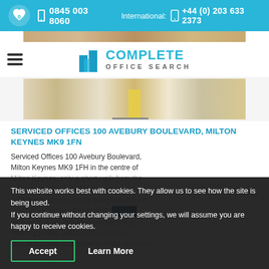0845 003 8060  International: +44 (0) 203 633 2373
[Figure (photo): Top partial image of office interior]
[Figure (logo): Complete Office Search logo with building icon]
[Figure (photo): Office interior with wood floors and yellow divider]
SERVICED OFFICES 100 AVEBURY BOULEVARD, MILTON KEYNES MK9 1FN
Serviced Offices 100 Avebury Boulevard, Milton Keynes MK9 1FH in the centre of Milton Keynes, only a short walk from the train station. Avebury Boulevard is a bold and business centre designed around working patterns, offering flexible working spaces including private areas, meeting rooms, and communication provides a new and dynamic office space to
This website works best with cookies. They allow us to see how the site is being used.
If you continue without changing your settings, we will assume you are happy to receive cookies.
Accept
Learn More